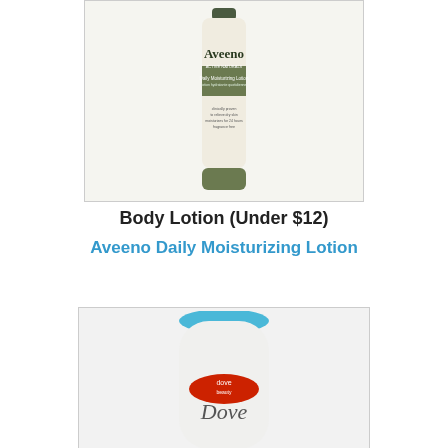[Figure (photo): Aveeno Active Naturals Daily Moisturizing Lotion tube, white and green packaging, standing upright]
Body Lotion (Under $12)
Aveeno Daily Moisturizing Lotion
[Figure (photo): Dove body wash bottle, white with blue cap and red label, partially visible from bottom]